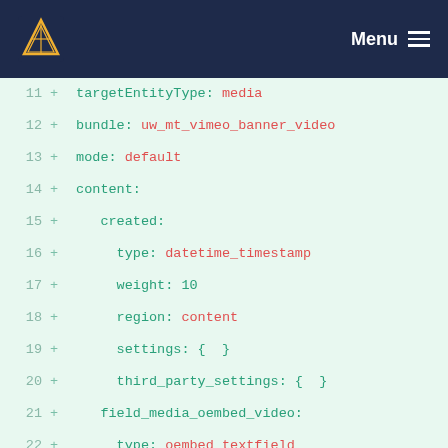University of Waterloo — Menu
[Figure (screenshot): Code diff view showing YAML configuration lines 11–30 with line numbers, plus signs, keys in teal and values in red/teal on a mint green background.]